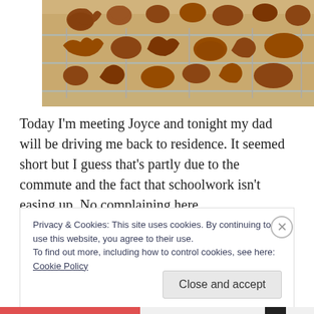[Figure (photo): Rows of gingerbread/cookie shaped cutouts cooling on wire racks on a granite countertop. Cookie shapes include bears, flowers, and other shapes, brown and undecorated.]
Today I'm meeting Joyce and tonight my dad will be driving me back to residence. It seemed short but I guess that's partly due to the commute and the fact that schoolwork isn't easing up. No complaining here,
Privacy & Cookies: This site uses cookies. By continuing to use this website, you agree to their use.
To find out more, including how to control cookies, see here: Cookie Policy
Close and accept